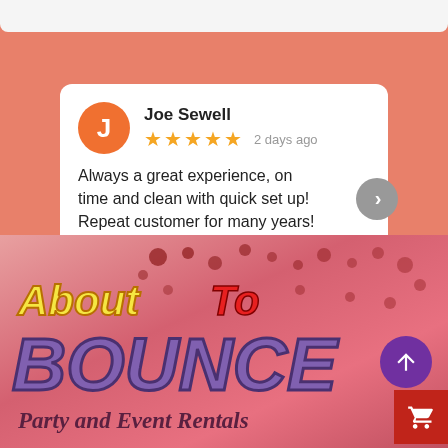Joe Sewell
★★★★★ 2 days ago
Always a great experience, on time and clean with quick set up! Repeat customer for many years!
Posted on Google
[Figure (logo): About To Bounce Party and Event Rentals logo on pink/red gradient background with decorative dots]